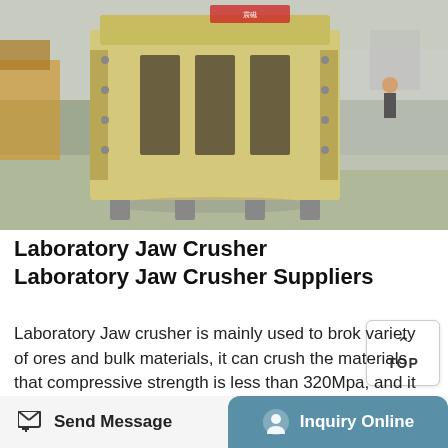[Figure (photo): A large yellow jaw crusher machine on a factory floor. The machine is a heavy industrial piece of equipment with visible structural frame and bolt fixtures. The factory background shows additional machinery and bright lighting.]
Laboratory Jaw Crusher Laboratory Jaw Crusher Suppliers
Laboratory Jaw crusher is mainly used to brok variety of ores and bulk materials, it can crush the materials that compressive strength is less than 320Mpa, and it can divided into coarse crushing and fine crushing two broken modes. The equipment is mainly used for coarse ,meduim and fine crush of ore limestone, calcium carbide,